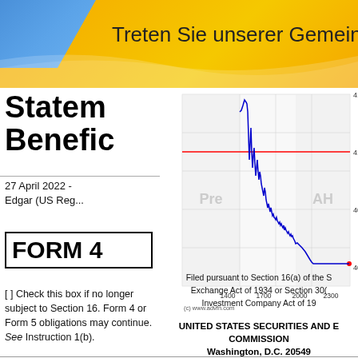Treten Sie unserer Gemeinsch
Statement of Changes in Beneficial Ownership
27 April 2022 - Edgar (US Reg...
[Figure (continuous-plot): Stock price chart showing intraday trading between approximately 1400 and 2300, price range 407-412, with blue line showing volatile price movement and a red horizontal reference line at about 410. Labels 'Pre' and 'AH' visible. Copyright www.advfn.com]
FORM 4
[ ] Check this box if no longer subject to Section 16. Form 4 or Form 5 obligations may continue. See Instruction 1(b).
UNITED STATES SECURITIES AND EXCHANGE COMMISSION
Washington, D.C. 20549
STATEMENT OF CHANGES IN BENEFICIAL OWNERSHIP OF SECURITIES
Filed pursuant to Section 16(a) of the Securities Exchange Act of 1934 or Section 30(f) of the Investment Company Act of 19...